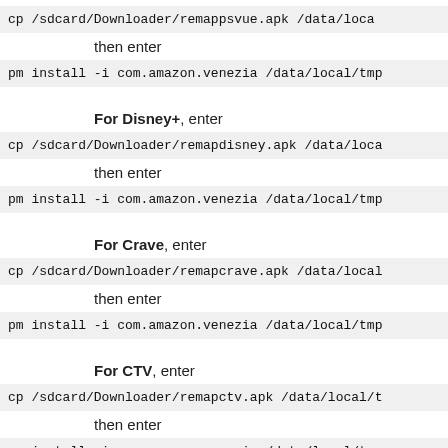cp /sdcard/Downloader/remappsvue.apk /data/loca
then enter
pm install -i com.amazon.venezia /data/local/tmp
For Disney+, enter
cp /sdcard/Downloader/remapdisney.apk /data/loca
then enter
pm install -i com.amazon.venezia /data/local/tmp
For Crave, enter
cp /sdcard/Downloader/remapcrave.apk /data/local
then enter
pm install -i com.amazon.venezia /data/local/tmp
For CTV, enter
cp /sdcard/Downloader/remapctv.apk /data/local/t
then enter
pm install -i com.amazon.venezia /data/local/tmp
For Freeview Play, enter